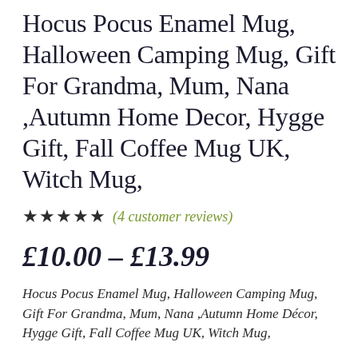Hocus Pocus Enamel Mug, Halloween Camping Mug, Gift For Grandma, Mum, Nana ,Autumn Home Decor, Hygge Gift, Fall Coffee Mug UK, Witch Mug,
★★★★★ (4 customer reviews)
£10.00 – £13.99
Hocus Pocus Enamel Mug, Halloween Camping Mug, Gift For Grandma, Mum, Nana ,Autumn Home Décor, Hygge Gift, Fall Coffee Mug UK, Witch Mug,
Material